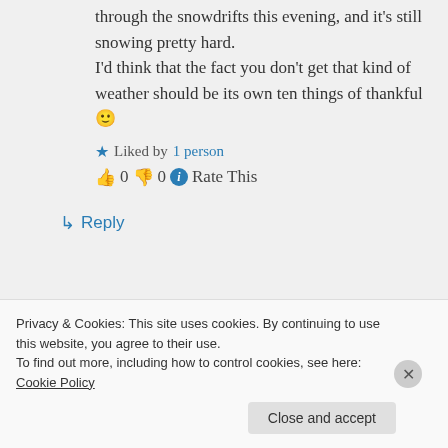through the snowdrifts this evening, and it's still snowing pretty hard. I'd think that the fact you don't get that kind of weather should be its own ten things of thankful 🙂
★ Liked by 1 person
👍 0 👎 0 ℹ️ Rate This
↳ Reply
Privacy & Cookies: This site uses cookies. By continuing to use this website, you agree to their use. To find out more, including how to control cookies, see here: Cookie Policy
Close and accept